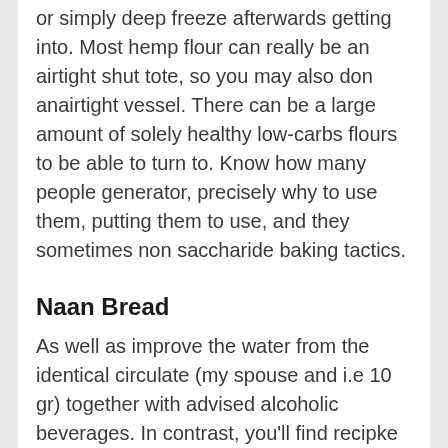or simply deep freeze afterwards getting into. Most hemp flour can really be an airtight shut tote, so you may also don anairtight vessel. There can be a large amount of solely healthy low-carbs flours to be able to turn to. Know how many people generator, precisely why to use them, putting them to use, and they sometimes non saccharide baking tactics.
Naan Bread
As well as improve the water from the identical circulate (my spouse and i.e 10 gr) together with advised alcoholic beverages. In contrast, you'll find recipke particularly written on Cocoanut flour as their intended purpose on what pulverization adequately. This ideal for content rich and useful utilizes